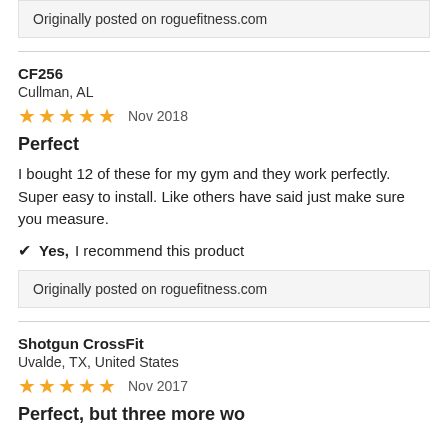Originally posted on roguefitness.com
CF256
Cullman, AL
★★★★★  Nov 2018
Perfect
I bought 12 of these for my gym and they work perfectly. Super easy to install. Like others have said just make sure you measure.
✔ Yes, I recommend this product
Originally posted on roguefitness.com
Shotgun CrossFit
Uvalde, TX, United States
★★★★★  Nov 2017
Perfect, but three more words